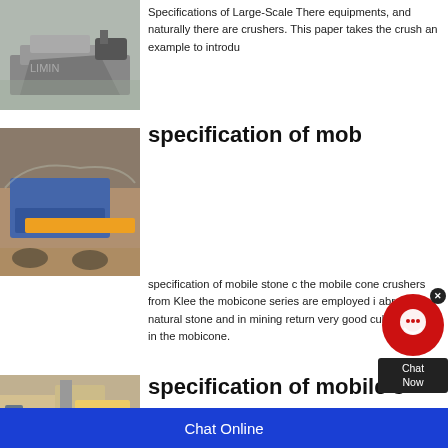[Figure (photo): Mining crusher machine with LIMING watermark, industrial equipment on site]
Specifications of Large-Scale There equipments, and naturally there are crushers. This paper takes the crush an example to introdu
[Figure (photo): Mobile stone crusher machine in operation, blue crusher with yellow conveyor belt on gravel site]
specification of mob
specification of mobile stone c the mobile cone crushers from Klee the mobicone series are employed i abrasive natural stone and in mining return very good cubic results in the mobicone.
[Figure (photo): Mobile stone crusher machine, yellow construction equipment on site with blue sky]
specification of mobile s
Chat Online